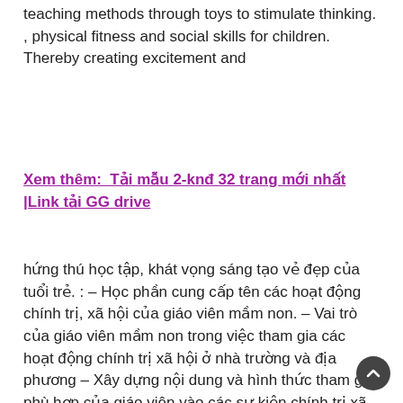teaching methods through toys to stimulate thinking. , physical fitness and social skills for children. Thereby creating excitement and
Xem thêm:  Tải mẫu 2-knđ 32 trang mới nhất |Link tải GG drive
hứng thú học tập, khát vọng sáng tạo vẻ đẹp của tuổi trẻ. : – Học phần cung cấp tên các hoạt động chính trị, xã hội của giáo viên mầm non. – Vai trò của giáo viên mầm non trong việc tham gia các hoạt động chính trị xã hội ở nhà trường và địa phương – Xây dựng nội dung và hình thức tham gia phù hợp của giáo viên vào các sự kiện chính trị xã hội cụ thể ở địa phương – Tự nguyện tích cực tham gia các sự kiện chính trị xã hội có liên quan ở cấp địa phương 2. Nội dung – vai trò của việc tham gia các hoạt